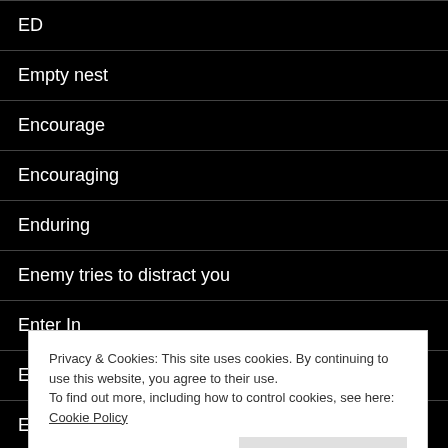ED
Empty nest
Encourage
Encouraging
Enduring
Enemy tries to distract you
Enter In
Everlasting love
Expectation
Privacy & Cookies: This site uses cookies. By continuing to use this website, you agree to their use.
To find out more, including how to control cookies, see here: Cookie Policy
Close and accept